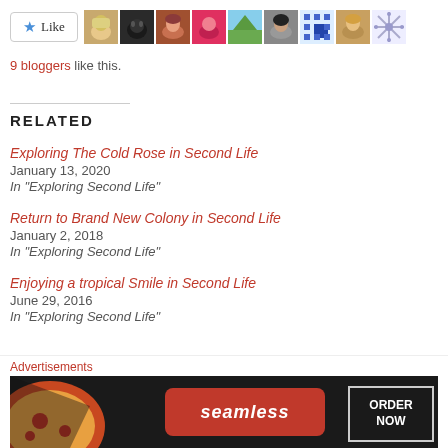[Figure (other): Like button with star icon and a row of 9 blogger avatar thumbnails]
9 bloggers like this.
RELATED
Exploring The Cold Rose in Second Life
January 13, 2020
In "Exploring Second Life"
Return to Brand New Colony in Second Life
January 2, 2018
In "Exploring Second Life"
Enjoying a tropical Smile in Second Life
June 29, 2016
In "Exploring Second Life"
[Figure (other): Seamless food delivery advertisement banner with pizza image and ORDER NOW button]